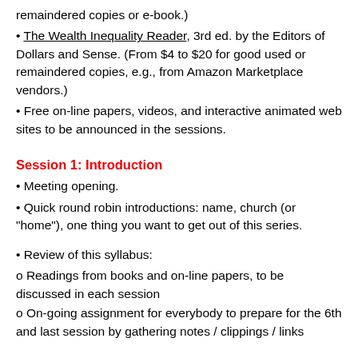remaindered copies or e-book.)
The Wealth Inequality Reader, 3rd ed. by the Editors of Dollars and Sense. (From $4 to $20 for good used or remaindered copies, e.g., from Amazon Marketplace vendors.)
Free on-line papers, videos, and interactive animated web sites to be announced in the sessions.
Session 1: Introduction
Meeting opening.
Quick round robin introductions: name, church (or "home"), one thing you want to get out of this series.
Review of this syllabus:
o Readings from books and on-line papers, to be discussed in each session
o On-going assignment for everybody to prepare for the 6th and last session by gathering notes / clippings / links